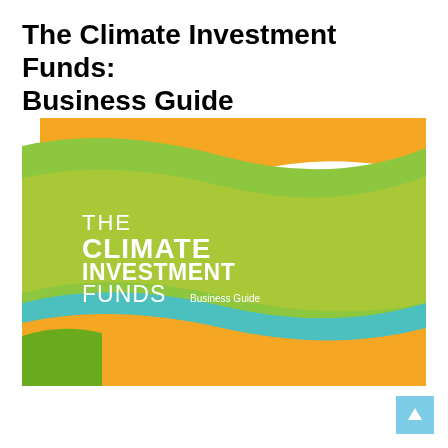The Climate Investment Funds: Business Guide
[Figure (illustration): Cover image of 'The Climate Investment Funds Business Guide' publication. Features colorful diagonal wave-like bands in orange, green, teal, and yellow-green colors. White text on a green background reads: THE CLIMATE INVESTMENT FUNDS Business Guide.]